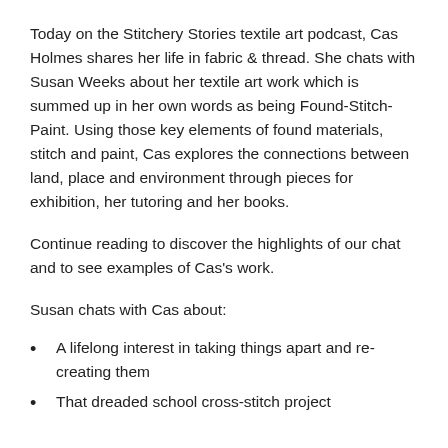Today on the Stitchery Stories textile art podcast, Cas Holmes shares her life in fabric & thread. She chats with Susan Weeks about her textile art work which is summed up in her own words as being Found-Stitch-Paint. Using those key elements of found materials, stitch and paint, Cas explores the connections between land, place and environment through pieces for exhibition, her tutoring and her books.
Continue reading to discover the highlights of our chat and to see examples of Cas's work.
Susan chats with Cas about:
A lifelong interest in taking things apart and re-creating them
That dreaded school cross-stitch project